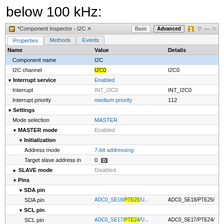below 100 kHz:
[Figure (screenshot): Component Inspector - I2C properties screenshot showing configuration settings including I2C channel I2C0, Interrupt service Enabled, Settings with MASTER mode, Initialization with 7-bit addressing, SDA and SCL pin assignments with PTE25 and PTE24 highlighted, Internal frequency 20.97152 MHz, and Bits 0-2 and 3-5 of Frequency divider settings]